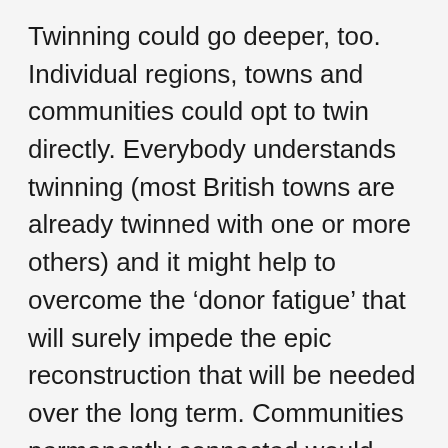Twinning could go deeper, too. Individual regions, towns and communities could opt to twin directly. Everybody understands twinning (most British towns are already twinned with one or more others) and it might help to overcome the ‘donor fatigue’ that will surely impede the epic reconstruction that will be needed over the long term. Communities permanently connected would develop bonds of understanding. Identification is much easier when you know those you are helping and when you can understand their lives and problems.